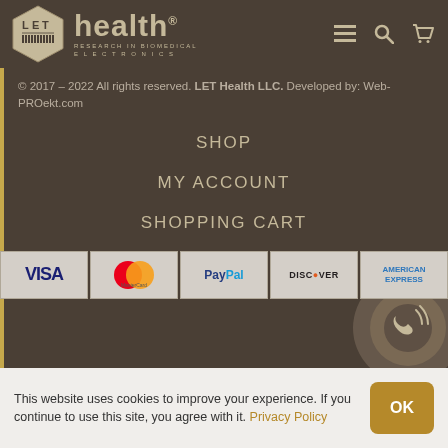[Figure (logo): LET Health logo with hexagon shape and 'health Research in Biomedical Electronics' text, with navigation icons (menu, search, cart)]
© 2017 – 2022 All rights reserved. LET Health LLC. Developed by: Web-PROekt.com
SHOP
MY ACCOUNT
SHOPPING CART
[Figure (other): Payment method icons: VISA, MasterCard, PayPal, Discover, American Express]
This website uses cookies to improve your experience. If you continue to use this site, you agree with it. Privacy Policy